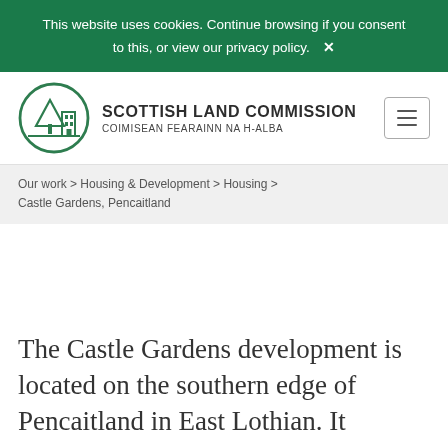This website uses cookies. Continue browsing if you consent to this, or view our privacy policy. ✕
[Figure (logo): Scottish Land Commission logo: circular green icon with stylized tree and building, alongside text 'SCOTTISH LAND COMMISSION' and 'COIMISEAN FEARAINN NA H-ALBA']
Our work > Housing & Development > Housing > Castle Gardens, Pencaitland
The Castle Gardens development is located on the southern edge of Pencaitland in East Lothian. It demonstrates the importance of